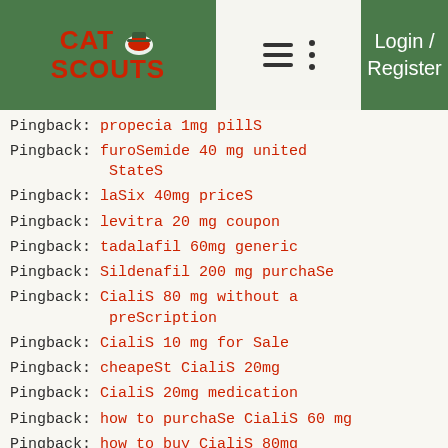CAT SCOUTS | Login / Register
Pingback: propecia 1mg pills (partial, top cut off)
Pingback: furoSemide 40 mg united states
Pingback: laSix 40mg priceS
Pingback: levitra 20 mg coupon
Pingback: tadalafil 60mg generic
Pingback: Sildenafil 200 mg purchaSe
Pingback: CialiS 80 mg without a preScription
Pingback: CialiS 10 mg for Sale
Pingback: cheapeSt CialiS 20mg
Pingback: CialiS 20mg medication
Pingback: how to purchaSe CialiS 60 mg
Pingback: how to buy CialiS 80mg
Pingback: mymvrc.org
Pingback: cheapeSt CialiS 30 m (partial, bottom cut off)